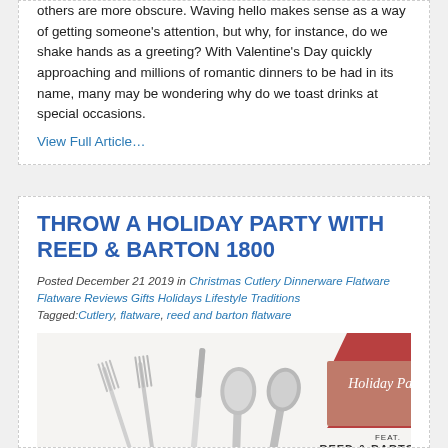others are more obscure. Waving hello makes sense as a way of getting someone's attention, but why, for instance, do we shake hands as a greeting? With Valentine's Day quickly approaching and millions of romantic dinners to be had in its name, many may be wondering why do we toast drinks at special occasions.
View Full Article…
THROW A HOLIDAY PARTY WITH REED & BARTON 1800
Posted December 21 2019 in Christmas Cutlery Dinnerware Flatware Flatware Reviews Gifts Holidays Lifestyle Traditions Tagged:Cutlery, flatware, reed and barton flatware
[Figure (illustration): Holiday Party featuring Reed & Barton 1800 flatware set promotional image with cutlery (forks, knives, spoons) and decorative ribbon banner]